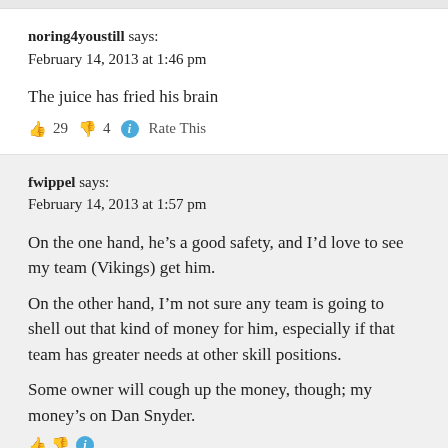noring4youstill says:
February 14, 2013 at 1:46 pm
The juice has fried his brain
👍 29 👎 4 ℹ Rate This
fwippel says:
February 14, 2013 at 1:57 pm
On the one hand, he's a good safety, and I'd love to see my team (Vikings) get him.
On the other hand, I'm not sure any team is going to shell out that kind of money for him, especially if that team has greater needs at other skill positions.
Some owner will cough up the money, though; my money's on Dan Snyder.